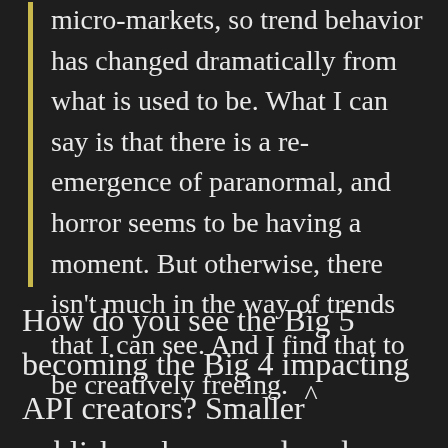micro-markets, so trend behavior has changed dramatically from what is used to be. What I can say is that there is a re-emergence of paranormal, and horror seems to be having a moment. But otherwise, there isn't much in the way of trends that I can see. And I find that to be creatively freeing.
How do you see the Big 5 becoming the Big 4 impacting API creators? Smaller publishers have produced many blockbusters this summer; do you